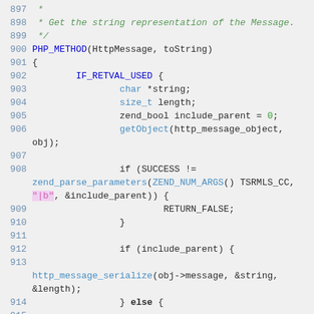Code snippet showing PHP C extension code lines 897-915, implementing HttpMessage toString method